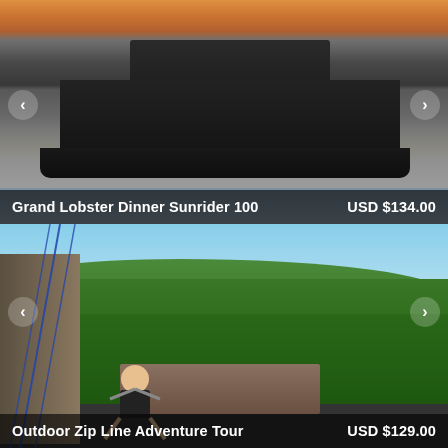[Figure (photo): A large dark ship photographed from the side at water level during sunset/dusk with orange sky in background]
Grand Lobster Dinner Sunrider 100   USD $134.00
[Figure (photo): A person in a helmet zip-lining or rappelling on a cliff face with lush green jungle valley canyon in the background]
Outdoor Zip Line Adventure Tour   USD $129.00